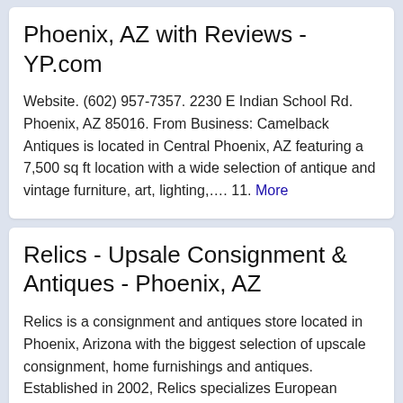Phoenix, AZ with Reviews - YP.com
Website. (602) 957-7357. 2230 E Indian School Rd. Phoenix, AZ 85016. From Business: Camelback Antiques is located in Central Phoenix, AZ featuring a 7,500 sq ft location with a wide selection of antique and vintage furniture, art, lighting,…. 11. More
Relics - Upsale Consignment & Antiques - Phoenix, AZ
Relics is a consignment and antiques store located in Phoenix, Arizona with the biggest selection of upscale consignment, home furnishings and antiques. Established in 2002, Relics specializes European antique furnishings as well as carefully selected consigned pieces. More